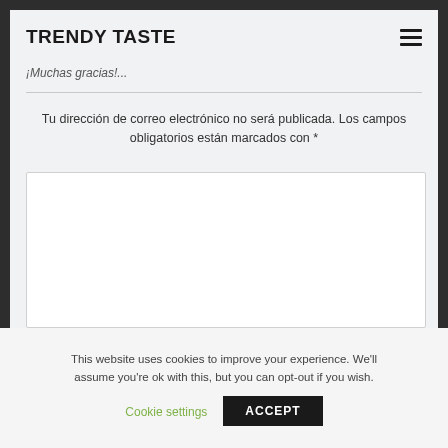TRENDY TASTE
¡Muchas gracias!...
Tu dirección de correo electrónico no será publicada. Los campos obligatorios están marcados con *
This website uses cookies to improve your experience. We'll assume you're ok with this, but you can opt-out if you wish.
Cookie settings  ACCEPT